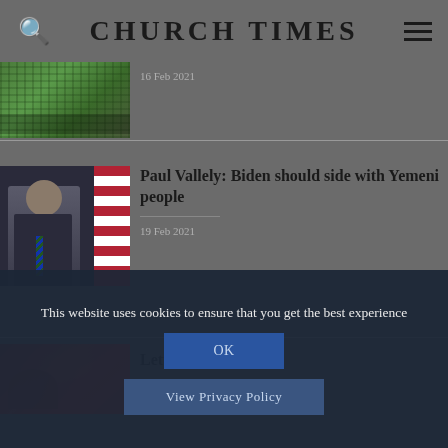CHURCH TIMES
[Figure (photo): Partial article image showing a crowd on green field, date 16 Feb 2021]
16 Feb 2021
Paul Vallely: Biden should side with Yemeni people
19 Feb 2021
Letters to the Editor
This website uses cookies to ensure that you get the best experience
OK
View Privacy Policy